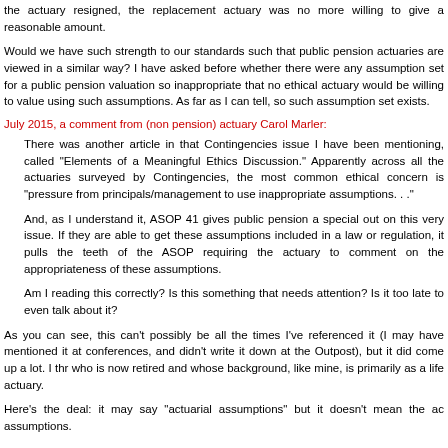the actuary resigned, the replacement actuary was no more willing to give a reasonable amount.
Would we have such strength to our standards such that public pension actuaries are viewed in a similar way? I have asked before whether there were any assumption set for a public pension valuation so inappropriate that no ethical actuary would be willing to value using such assumptions. As far as I can tell, so such assumption set exists.
July 2015, a comment from (non pension) actuary Carol Marler:
There was another article in that Contingencies issue I have been mentioning, called "Elements of a Meaningful Ethics Discussion." Apparently across all the actuaries surveyed by Contingencies, the most common ethical concern is "pressure from principals/management to use inappropriate assumptions. . ."
And, as I understand it, ASOP 41 gives public pension a special out on this very issue. If they are able to get these assumptions included in a law or regulation, it pulls the teeth of the ASOP requiring the actuary to comment on the appropriateness of these assumptions.
Am I reading this correctly? Is this something that needs attention? Is it too late to even talk about it?
As you can see, this can't possibly be all the times I've referenced it (I may have mentioned it at conferences, and didn't write it down at the Outpost), but it did come up a lot. I think Carol Marler, who is now retired and whose background, like mine, is primarily as a life actuary.
Here's the deal: it may say "actuarial assumptions" but it doesn't mean the actual actuarial assumptions.